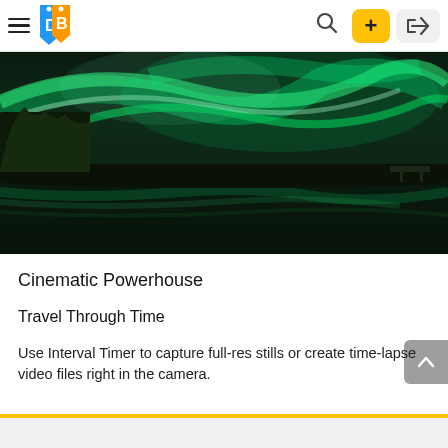DB logo navigation header with hamburger menu, search, + button, and login button
[Figure (photo): Northern lights (aurora borealis) over a calm lake with silhouetted trees on the left, green glowing streaks across a dark sky reflected in the water]
Cinematic Powerhouse
Travel Through Time
Use Interval Timer to capture full-res stills or create time-lapse video files right in the camera.
Dark bottom bar with amber/yellow stripe